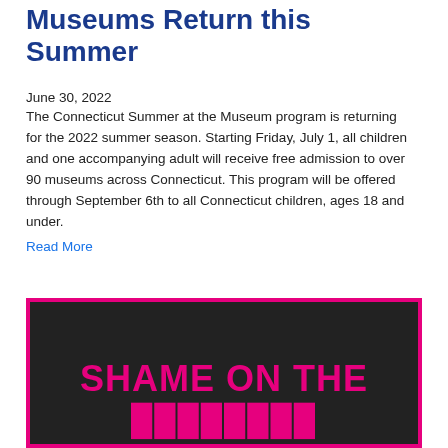Museums Return this Summer
June 30, 2022
The Connecticut Summer at the Museum program is returning for the 2022 summer season. Starting Friday, July 1, all children and one accompanying adult will receive free admission to over 90 museums across Connecticut. This program will be offered through September 6th to all Connecticut children, ages 18 and under.
Read More
[Figure (photo): Dark background image with hot pink border showing the text 'SHAME ON THE' in large bold pink letters at the bottom]